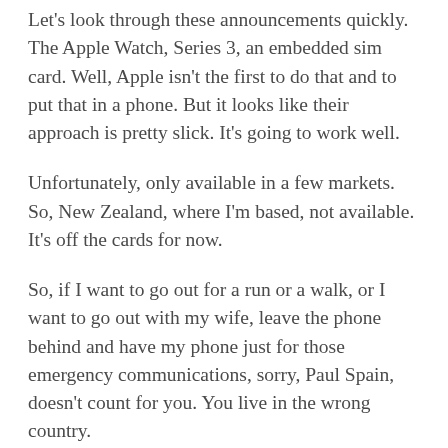Let's look through these announcements quickly. The Apple Watch, Series 3, an embedded sim card. Well, Apple isn't the first to do that and to put that in a phone. But it looks like their approach is pretty slick. It's going to work well.
Unfortunately, only available in a few markets. So, New Zealand, where I'm based, not available. It's off the cards for now.
So, if I want to go out for a run or a walk, or I want to go out with my wife, leave the phone behind and have my phone just for those emergency communications, sorry, Paul Spain, doesn't count for you. You live in the wrong country.
That would be the case for a lot of people around the world. What about this new Apple TV 4K? Well, Apple certainly isn't the first to come to the market there with a Ultra-high definition but it's good to see that coming